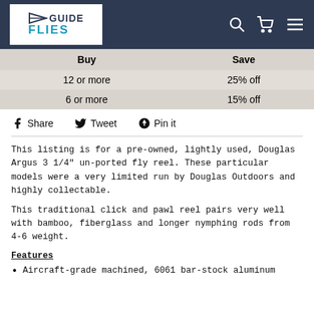[Figure (logo): Guide Flies logo with arrow icon, white text on navy background header with search, cart, and menu icons]
| Buy | Save |
| --- | --- |
| 12 or more | 25% off |
| 6 or more | 15% off |
Share  Tweet  Pin it
This listing is for a pre-owned, lightly used, Douglas Argus 3 1/4" un-ported fly reel. These particular models were a very limited run by Douglas Outdoors and highly collectable.
This traditional click and pawl reel pairs very well with bamboo, fiberglass and longer nymphing rods from 4-6 weight.
Features
Aircraft-grade machined, 6061 bar-stock aluminum